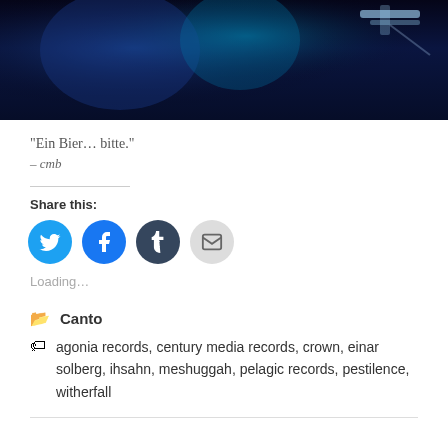[Figure (photo): Concert/stage photo with dark blue lighting, partially cropped at top]
“Ein Bier… bitte.”
– cmb
Share this:
[Figure (infographic): Social share buttons: Twitter, Facebook, Tumblr, Email]
Loading...
Canto
agonia records, century media records, crown, einar solberg, ihsahn, meshuggah, pelagic records, pestilence, witherfall